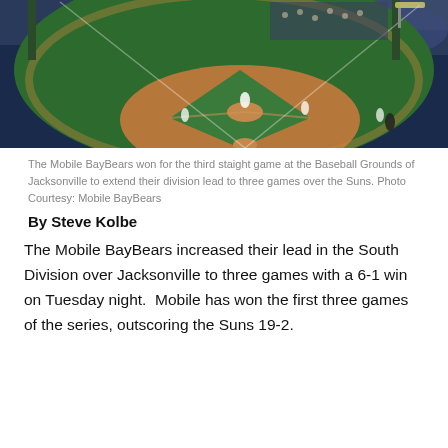[Figure (photo): Aerial/field-level view of a minor league baseball game at the Baseball Grounds of Jacksonville at night, showing the infield, pitcher's mound, and fans in the stands under stadium lights.]
The Mobile BayBears won for the third staight game at the Baseball Grounds of Jacksonville to extend their division lead to three games over the Suns. Photo Courtesy: Mobile BayBears
By Steve Kolbe
The Mobile BayBears increased their lead in the South Division over Jacksonville to three games with a 6-1 win on Tuesday night.  Mobile has won the first three games of the series, outscoring the Suns 19-2.